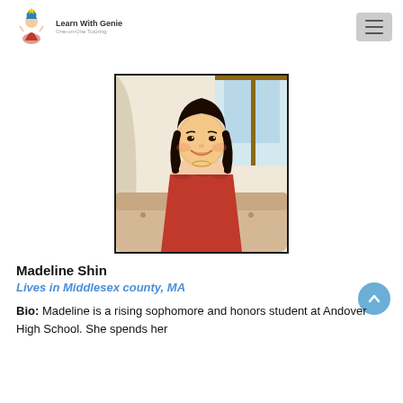[Figure (logo): Learn With Genie logo with genie illustration and text 'Learn With Genie / One-on-One Tutoring']
[Figure (photo): Portrait photo of Madeline Shin, a young woman with dark hair wearing a red dress, sitting on a beige couch with a window in the background]
Madeline Shin
Lives in Middlesex county, MA
Bio: Madeline is a rising sophomore and honors student at Andover High School. She spends her